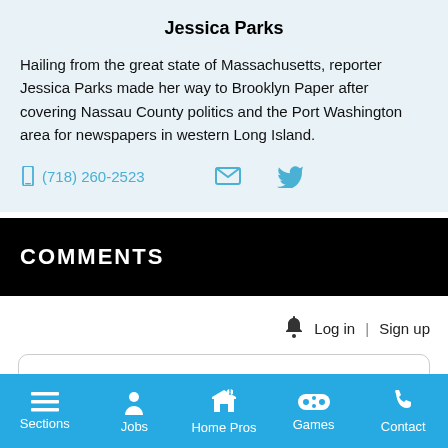Jessica Parks
Hailing from the great state of Massachusetts, reporter Jessica Parks made her way to Brooklyn Paper after covering Nassau County politics and the Port Washington area for newspapers in western Long Island.
(718) 260-2523
COMMENTS
Log in | Sign up
Be the first to comment...
Sections  Jobs  Home Pros  Games  Contact